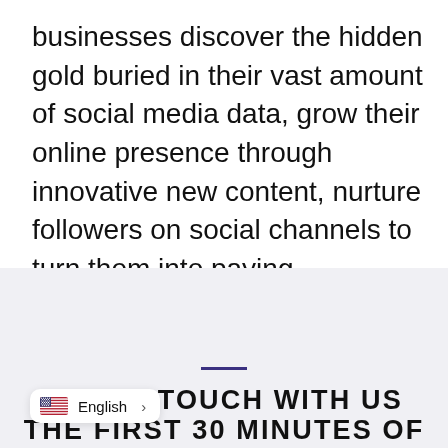businesses discover the hidden gold buried in their vast amount of social media data, grow their online presence through innovative new content, nurture followers on social channels to turn them into paying customers.
GET IN TOUCH WITH US THE FIRST 30 MINUTES OF